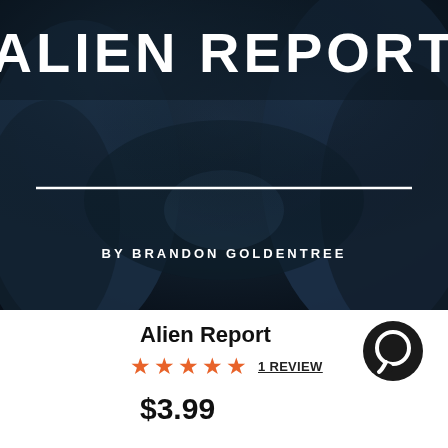[Figure (illustration): Book cover for 'Alien Report' by Brandon Goldentree. Dark blue-grey rocky/cave background with large bold white uppercase text 'ALIEN REPORT' at top, a white horizontal dividing line, and author credit 'BY BRANDON GOLDENTREE' in smaller spaced uppercase white text near the bottom of the image.]
Alien Report
★★★★★  1 REVIEW
$3.99